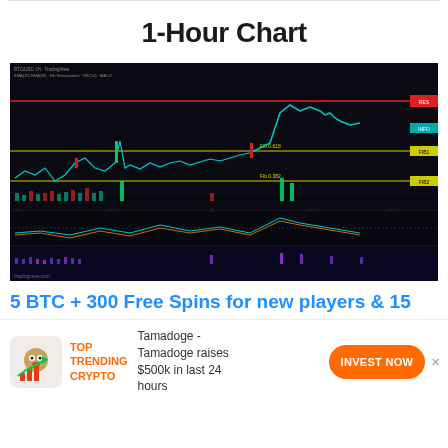1-Hour Chart
[Figure (continuous-plot): 1-hour candlestick chart of a cryptocurrency (likely Bitcoin) on a dark background, showing price action with teal/green candlesticks. Features horizontal resistance/support lines: a red line near the top, two yellow lines in the middle range labeled 'Fib 0.618' and 'Fib 0.382'. Volume bars displayed below the main chart. RSI and MACD indicator panels below. Price surged sharply near the right side of the chart.]
5 BTC + 300 Free Spins for new players & 15
TOP TRENDING CRYPTO
Tamadoge - Tamadoge raises $500k in last 24 hours
INVEST NOW